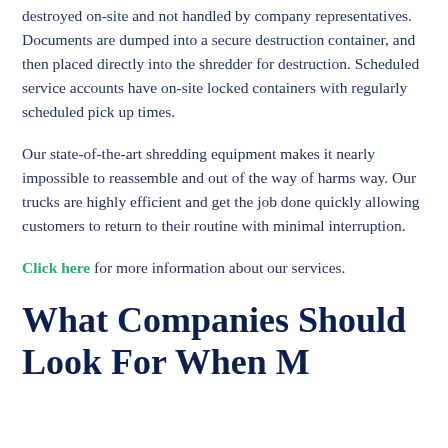destroyed on-site and not handled by company representatives. Documents are dumped into a secure destruction container, and then placed directly into the shredder for destruction. Scheduled service accounts have on-site locked containers with regularly scheduled pick up times.
Our state-of-the-art shredding equipment makes it nearly impossible to reassemble and out of the way of harms way. Our trucks are highly efficient and get the job done quickly allowing customers to return to their routine with minimal interruption.
Click here for more information about our services.
What Companies Should Look For When M...